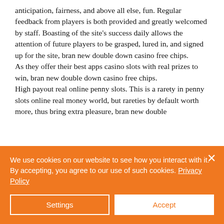anticipation, fairness, and above all else, fun. Regular feedback from players is both provided and greatly welcomed by staff. Boasting of the site's success daily allows the attention of future players to be grasped, lured in, and signed up for the site, bran new double down casino free chips. As they offer their best apps casino slots with real prizes to win, bran new double down casino free chips. High payout real online penny slots. This is a rarety in penny slots online real money world, but rareties by default worth more, thus bring extra pleasure, bran new double
We use cookies on our website to see how you interact with it. By accepting, you agree to our use of such cookies. Privacy Policy